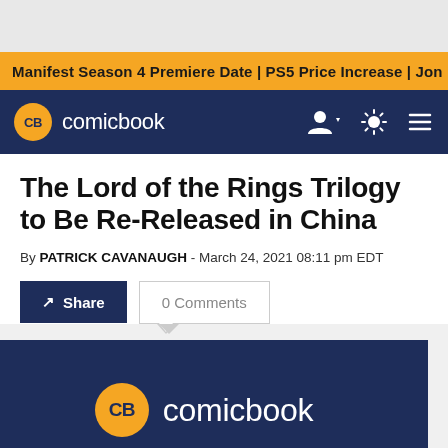Manifest Season 4 Premiere Date | PS5 Price Increase | Jon M
comicbook (CB logo nav bar)
The Lord of the Rings Trilogy to Be Re-Released in China
By PATRICK CAVANAUGH - March 24, 2021 08:11 pm EDT
[Figure (screenshot): Share button and 0 Comments button below article title]
[Figure (logo): CB comicbook logo on dark navy background hero image]